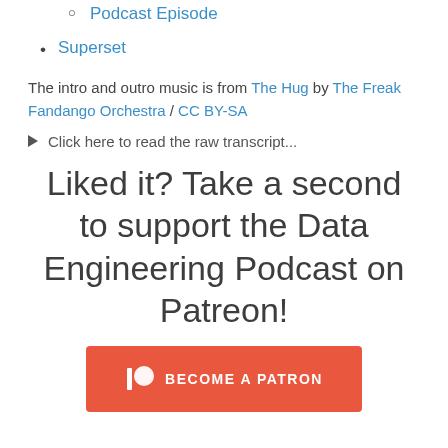Podcast Episode
Superset
The intro and outro music is from The Hug by The Freak Fandango Orchestra / CC BY-SA
▶ Click here to read the raw transcript...
Liked it? Take a second to support the Data Engineering Podcast on Patreon!
[Figure (other): Patreon 'Become a Patron' button in orange/red with Patreon logo icon]